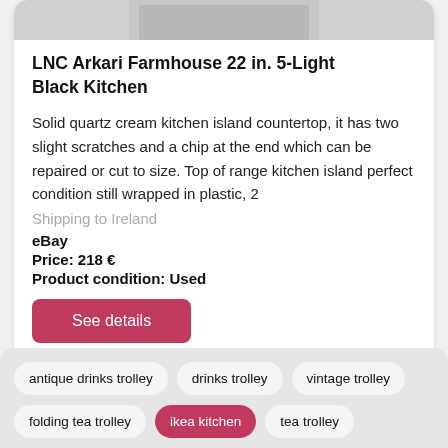[Figure (photo): Partial product image at top of card, cropped]
LNC Arkari Farmhouse 22 in. 5-Light Black Kitchen
Solid quartz cream kitchen island countertop, it has two slight scratches and a chip at the end which can be repaired or cut to size. Top of range kitchen island perfect condition still wrapped in plastic, 2
Shipping to Ireland
eBay
Price: 218 €
Product condition: Used
See details
antique drinks trolley
drinks trolley
vintage trolley
folding tea trolley
ikea kitchen
tea trolley